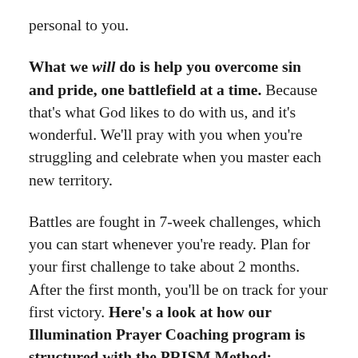personal to you.
What we will do is help you overcome sin and pride, one battlefield at a time. Because that's what God likes to do with us, and it's wonderful. We'll pray with you when you're struggling and celebrate when you master each new territory.
Battles are fought in 7-week challenges, which you can start whenever you're ready. Plan for your first challenge to take about 2 months. After the first month, you'll be on track for your first victory. Here's a look at how our Illumination Prayer Coaching program is structured with the PRISM Method: